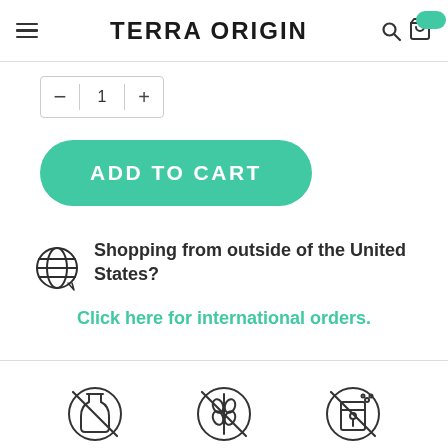TERRA ORIGIN
[Figure (illustration): Quantity selector box with minus, 1, and plus buttons]
[Figure (illustration): Add to cart teal rounded button with white uppercase text]
Shopping from outside of the United States?
Click here for international orders.
[Figure (illustration): Three circular no-ingredient icons at the bottom: dairy-free, gluten-free, artificial-free]